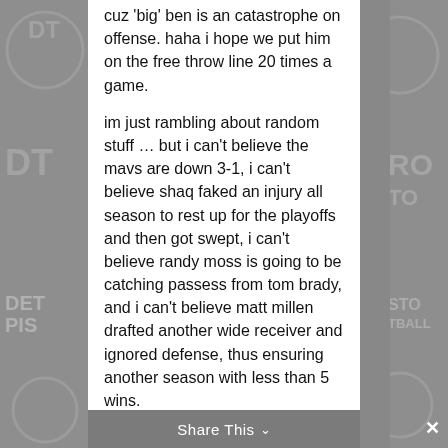cuz 'big' ben is an catastrophe on offense. haha i hope we put him on the free throw line 20 times a game.
im just rambling about random stuff … but i can't believe the mavs are down 3-1, i can't believe shaq faked an injury all season to rest up for the playoffs and then got swept, i can't believe randy moss is going to be catching passess from tom brady, and i can't believe matt millen drafted another wide receiver and ignored defense, thus ensuring another season with less than 5 wins.
Share This ∨